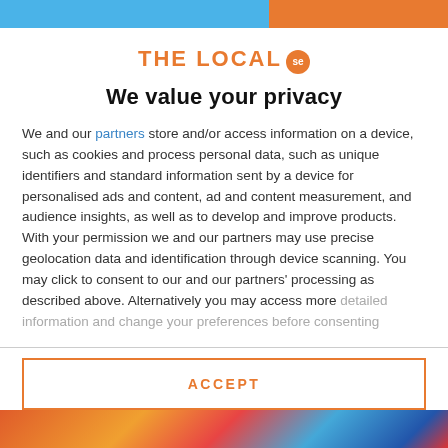[Figure (logo): The Local SE logo — orange text 'THE LOCAL' with orange circular badge containing 'se']
We value your privacy
We and our partners store and/or access information on a device, such as cookies and process personal data, such as unique identifiers and standard information sent by a device for personalised ads and content, ad and content measurement, and audience insights, as well as to develop and improve products. With your permission we and our partners may use precise geolocation data and identification through device scanning. You may click to consent to our and our partners' processing as described above. Alternatively you may access more detailed information and change your preferences before consenting
ACCEPT
MORE OPTIONS